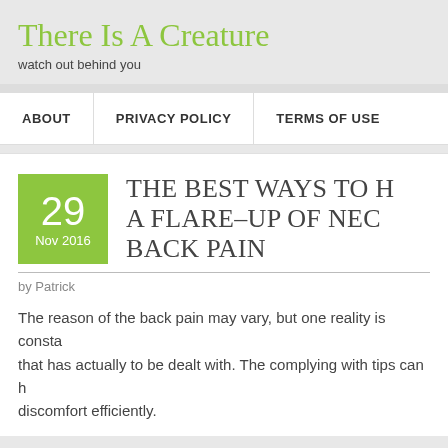There Is A Creature
watch out behind you
ABOUT | PRIVACY POLICY | TERMS OF USE
THE BEST WAYS TO [HANDLE] A FLARE-UP OF NECK [AND] BACK PAIN
by Patrick
The reason of the back pain may vary, but one reality is consta[nt] that has actually to be dealt with. The complying with tips can h[elp] discomfort efficiently.